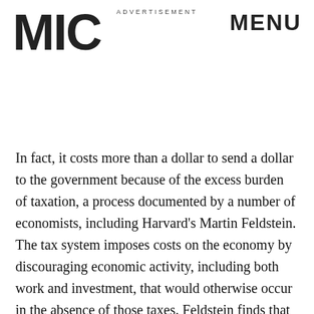MIC
ADVERTISEMENT
MENU
In fact, it costs more than a dollar to send a dollar to the government because of the excess burden of taxation, a process documented by a number of economists, including Harvard’s Martin Feldstein. The tax system imposes costs on the economy by discouraging economic activity, including both work and investment, that would otherwise occur in the absence of those taxes. Feldstein finds that higher marginal tax rates generate an excess burden on the economy of $0.76 for every additional dollar of revenue raised.